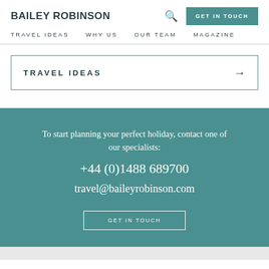BAILEY ROBINSON
TRAVEL IDEAS   WHY US   OUR TEAM   MAGAZINE
TRAVEL IDEAS →
To start planning your perfect holiday, contact one of our specialists:
+44 (0)1488 689700
travel@baileyrobinson.com
GET IN TOUCH